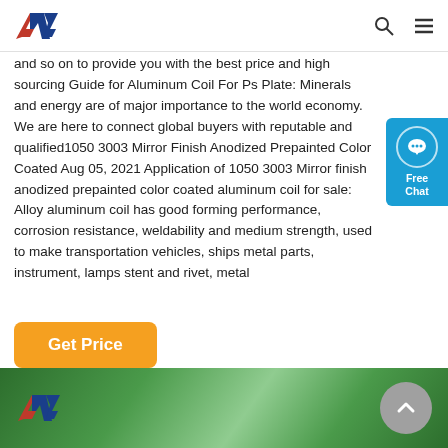AW logo, search icon, menu icon
and so on to provide you with the best price and high sourcing Guide for Aluminum Coil For Ps Plate: Minerals and energy are of major importance to the world economy. We are here to connect global buyers with reputable and qualified1050 3003 Mirror Finish Anodized Prepainted Color Coated Aug 05, 2021 Application of 1050 3003 Mirror finish anodized prepainted color coated aluminum coil for sale: Alloy aluminum coil has good forming performance, corrosion resistance, weldability and medium strength, used to make transportation vehicles, ships metal parts, instrument, lamps stent and rivet, metal
Get Price
[Figure (logo): Green footer bar with AW logo on the left and a gray scroll-to-top arrow button on the right]